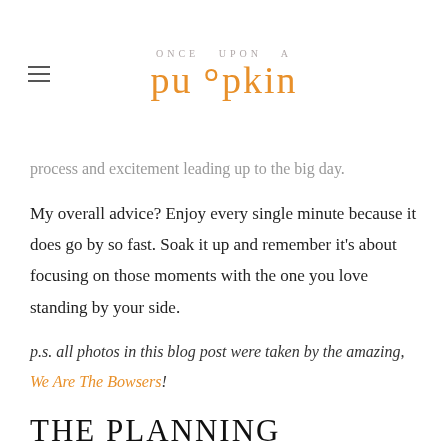ONCE UPON A pumpkin
process and excitement leading up to the big day.
My overall advice? Enjoy every single minute because it does go by so fast. Soak it up and remember it's about focusing on those moments with the one you love standing by your side.
p.s. all photos in this blog post were taken by the amazing, We Are The Bowsers!
THE PLANNING